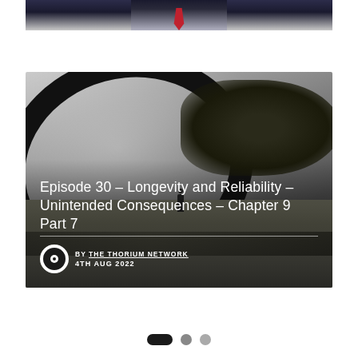[Figure (photo): Top portion of a person in a dark suit with a red tie, cropped at the torso/shoulders, against a light background]
[Figure (photo): Black and white outdoor scene with a large curved arc/branch in the foreground, a lone figure on a sandy/rocky landscape, and vegetation on the right. Overlay text reads 'Episode 30 – Longevity and Reliability – Unintended Consequences – Chapter 9 Part 7' with author 'THE THORIUM NETWORK' and date '4TH AUG 2022']
Episode 30 – Longevity and Reliability – Unintended Consequences – Chapter 9 Part 7
BY THE THORIUM NETWORK
4TH AUG 2022